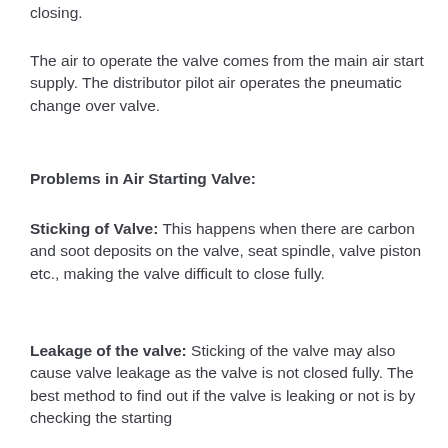closing.
The air to operate the valve comes from the main air start supply. The distributor pilot air operates the pneumatic change over valve.
Problems in Air Starting Valve:
Sticking of Valve: This happens when there are carbon and soot deposits on the valve, seat spindle, valve piston etc., making the valve difficult to close fully.
Leakage of the valve: Sticking of the valve may also cause valve leakage as the valve is not closed fully. The best method to find out if the valve is leaking or not is by checking the starting...